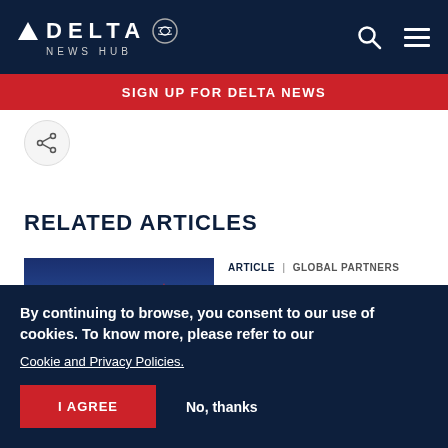DELTA NEWS HUB
SIGN UP FOR DELTA NEWS
[Figure (other): Share icon button (circle with share/network icon)]
RELATED ARTICLES
[Figure (photo): Photo of airplane tails showing Delta and LATAM liveries against a blue sky background]
ARTICLE | GLOBAL PARTNERS
Delta and LATAM Group expand codeshares and improve connectivity
By continuing to browse, you consent to our use of cookies. To know more, please refer to our Cookie and Privacy Policies.
I AGREE
No, thanks